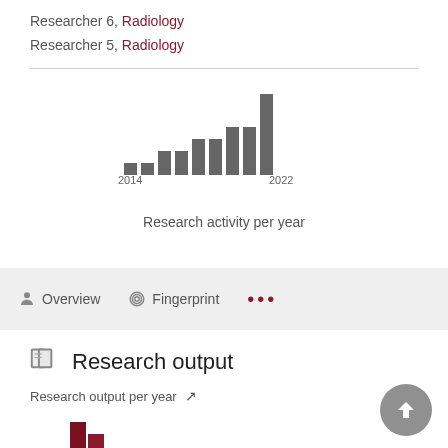Researcher 6, Radiology
Researcher 5, Radiology
[Figure (bar-chart): Research activity per year]
Research activity per year
Overview   Fingerprint   ...
Research output
Research output per year
[Figure (bar-chart): Research output per year]